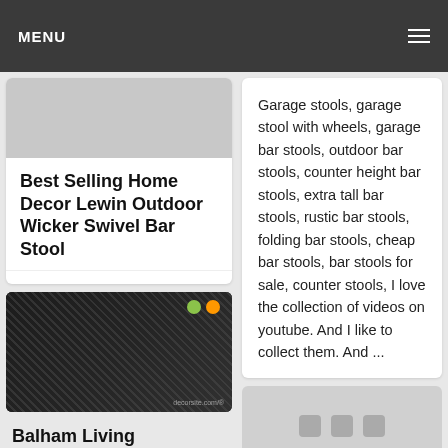MENU
Best Selling Home Decor Lewin Outdoor Wicker Swivel Bar Stool
Best Selling Home Decor Lewin Outdoor Wicker Swivel Bar Stool...
[Figure (photo): Close-up photo of dark wicker/mesh material texture]
Balham Living
Garage stools, garage stool with wheels, garage bar stools, outdoor bar stools, counter height bar stools, extra tall bar stools, rustic bar stools, folding bar stools, cheap bar stools, bar stools for sale, counter stools, I love the collection of videos on youtube. And I like to collect them. And ...
[Figure (other): Grey card with three dots/icons at bottom right]